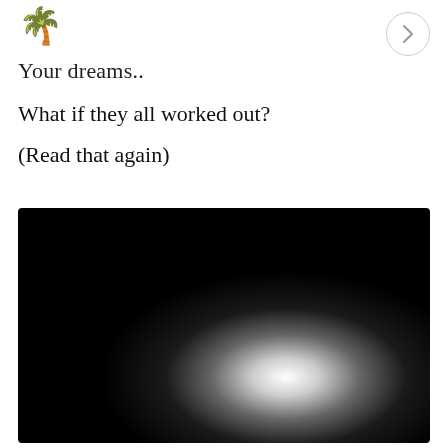🌴 [logo icon] > [navigation button]
Your dreams..
What if they all worked out?

(Read that again)
[Figure (photo): A square image with a dark black background and a soft glowing white light in the lower-right center area, creating a radial gradient effect from white to black.]